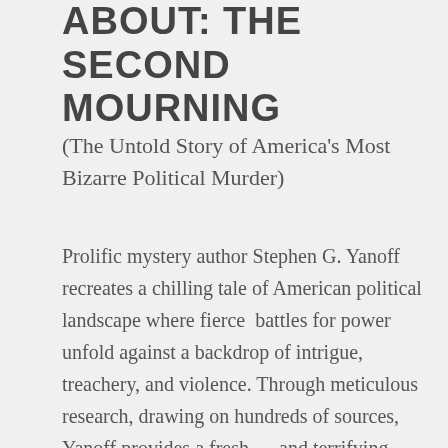ABOUT: THE SECOND MOURNING
(The Untold Story of America's Most Bizarre Political Murder)
Prolific mystery author Stephen G. Yanoff recreates a chilling tale of American political landscape where fierce  battles for power unfold against a backdrop of intrigue, treachery, and violence. Through meticulous research, drawing on hundreds of sources, Yanoff provides a fresh — and terrifying — look at the assassination of President James A. Garfield . He also uncovers the untold story of the assassin, Charles Guiteau, the insane office  seeker who changed the course of American History.